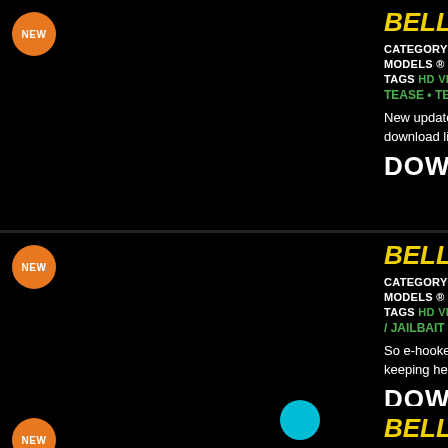[Figure (other): Card 1: black thumbnail with NEW badge, title BELLE DE..., category INTER..., models STU..., tags HD VIDEO, TEASE, TEENS A..., description text, DOWNLOAD button]
[Figure (other): Card 2: black thumbnail with NEW badge, title BELLE DE..., category INTER..., models STU..., tags HD VIDEO / JAILBAIT, description text about e-hooker, DOWNLOAD button]
[Figure (other): Card 3 (partial): black thumbnail with NEW badge, teal circle overlay, partial title BELLE DE...]